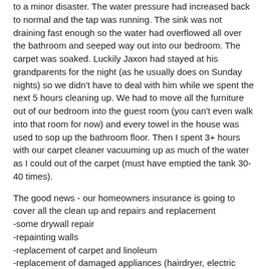to a minor disaster. The water pressure had increased back to normal and the tap was running. The sink was not draining fast enough so the water had overflowed all over the bathroom and seeped way out into our bedroom. The carpet was soaked. Luckily Jaxon had stayed at his grandparents for the night (as he usually does on Sunday nights) so we didn't have to deal with him while we spent the next 5 hours cleaning up. We had to move all the furniture out of our bedroom into the guest room (you can't even walk into that room for now) and every towel in the house was used to sop up the bathroom floor. Then I spent 3+ hours with our carpet cleaner vacuuming up as much of the water as I could out of the carpet (must have emptied the tank 30-40 times).
The good news - our homeowners insurance is going to cover all the clean up and repairs and replacement
-some drywall repair
-repainting walls
-replacement of carpet and linoleum
-replacement of damaged appliances (hairdryer, electric razor, etc)
-replacement of insulation from under the rooms